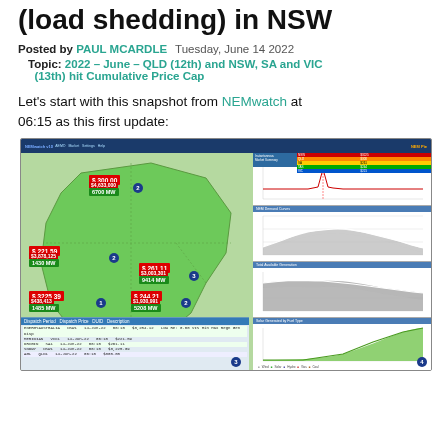Evening's forecast ECNS (load shedding) in NSW
Posted by PAUL MCARDLE   Tuesday, June 14 2022
Topic: 2022 - June - QLD (12th) and NSW, SA and VIC (13th) hit Cumulative Price Cap
Let's start with this snapshot from NEMwatch at 06:15 as this first update:
[Figure (screenshot): NEMwatch dashboard screenshot showing Australian electricity market data at 06:15 on June 14 2022. Left panel shows map of Australia with regional price and MW data: QLD $300.00 6700MW; NSW $3225.39 1485MW; VIC $221.59 1430MW; SA $261.11 9414MW; TAS $244.21 5208MW. Right panels show line charts for Grid Data Since, NEM Demand Curves, Total Available Generation, and Solar Generated by Fuel Type.]